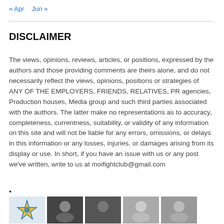« Apr   Jun »
DISCLAIMER
The views, opinions, reviews, articles, or positions, expressed by the authors and those providing comments are theirs alone, and do not necessarily reflect the views, opinions, positions or strategies of ANY OF THE EMPLOYERS, FRIENDS, RELATIVES, PR agencies, Production houses, Media group and such third parties associated with the authors. The latter make no representations as to accuracy, completeness, currentness, suitability, or validity of any information on this site and will not be liable for any errors, omissions, or delays in this information or any losses, injuries, or damages arising from its display or use. In short, if you have an issue with us or any post we've written, write to us at moifightclub@gmail.com
•
[Figure (photo): Row of five thumbnail profile images at bottom of page]